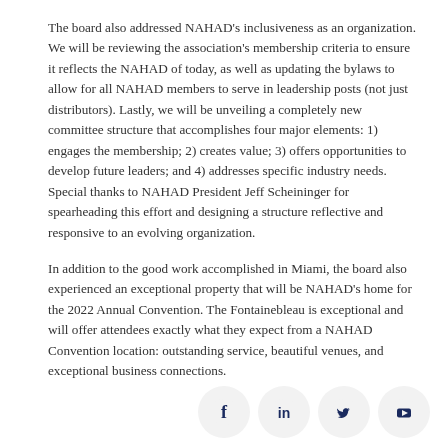The board also addressed NAHAD's inclusiveness as an organization. We will be reviewing the association's membership criteria to ensure it reflects the NAHAD of today, as well as updating the bylaws to allow for all NAHAD members to serve in leadership posts (not just distributors). Lastly, we will be unveiling a completely new committee structure that accomplishes four major elements: 1) engages the membership; 2) creates value; 3) offers opportunities to develop future leaders; and 4) addresses specific industry needs. Special thanks to NAHAD President Jeff Scheininger for spearheading this effort and designing a structure reflective and responsive to an evolving organization.
In addition to the good work accomplished in Miami, the board also experienced an exceptional property that will be NAHAD's home for the 2022 Annual Convention. The Fontainebleau is exceptional and will offer attendees exactly what they expect from a NAHAD Convention location: outstanding service, beautiful venues, and exceptional business connections.
[Figure (infographic): Social media icons: Facebook, LinkedIn, Twitter, YouTube — circular grey buttons]